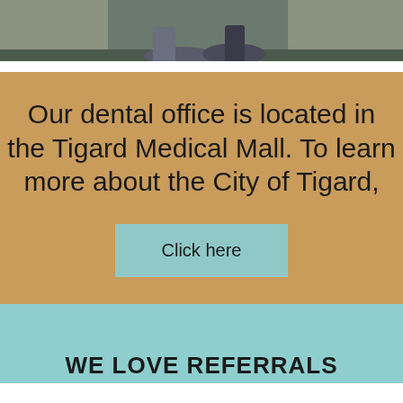[Figure (photo): Partial photo showing people sitting, cropped at top of page]
Our dental office is located in the Tigard Medical Mall. To learn more about the City of Tigard,
Click here
WE LOVE REFERRALS